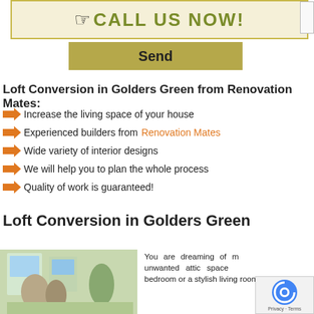[Figure (screenshot): Call us now button banner with hand pointer icon, olive/yellow-green text on cream background]
[Figure (screenshot): Send button in olive/tan color]
Loft Conversion in Golders Green from Renovation Mates:
Increase the living space of your house
Experienced builders from Renovation Mates
Wide variety of interior designs
We will help you to plan the whole process
Quality of work is guaranteed!
Loft Conversion in Golders Green
[Figure (photo): Interior photo of a loft conversion showing two people, skylights and plants]
You are dreaming of making use of your unwanted attic space to create an extra bedroom or a stylish living room